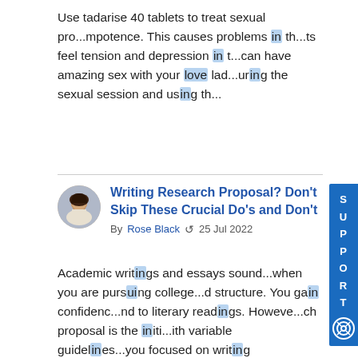Use tadarise 40 tablets to treat sexual pro...mpotence. This causes problems in th...ts feel tension and depression in t...can have amazing sex with your love lad...uring the sexual session and using th...
Writing Research Proposal? Don't Skip These Crucial Do's and Don't
By Rose Black  25 Jul 2022
Academic writings and essays sound...when you are pursuing college...d structure. You gain confidenc...nd to literary readings. Howeve...ch proposal is the initi...ith variable guidelines...you focused on writing spec...search proposal; maintain...